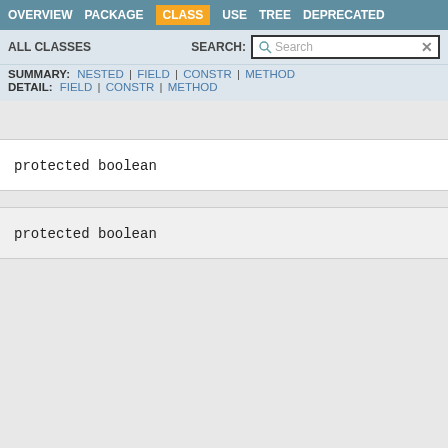OVERVIEW  PACKAGE  CLASS  USE  TREE  DEPRECATED
ALL CLASSES    SEARCH:  Search
SUMMARY: NESTED | FIELD | CONSTR | METHOD
DETAIL: FIELD | CONSTR | METHOD
protected boolean
protected boolean